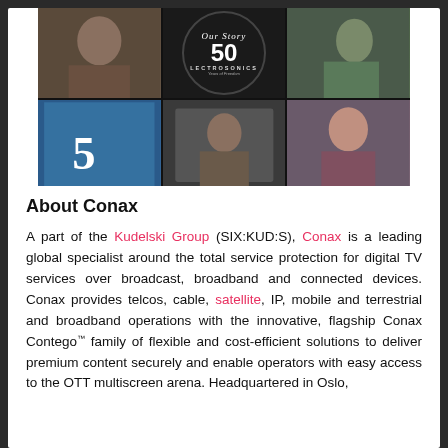[Figure (photo): Photo collage showing various people and scenes with Lectrosonics 50 Years of Freedom logo in center circle on dark background]
About Conax
A part of the Kudelski Group (SIX:KUD:S), Conax is a leading global specialist around the total service protection for digital TV services over broadcast, broadband and connected devices. Conax provides telcos, cable, satellite, IP, mobile and terrestrial and broadband operations with the innovative, flagship Conax Contego™ family of flexible and cost-efficient solutions to deliver premium content securely and enable operators with easy access to the OTT multiscreen arena. Headquartered in Oslo,